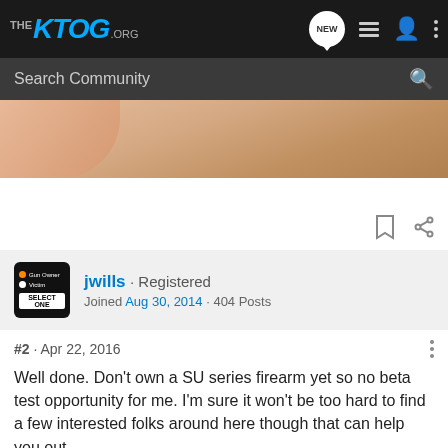THE KTOG.ORG — Navigation bar with NEW, list, user, menu icons
Search Community
[Figure (photo): Partial photo showing a hand or skin and beige/carpeted surface]
jwills · Registered
Joined Aug 30, 2014 · 404 Posts
#2 · Apr 22, 2016
Well done. Don't own a SU series firearm yet so no beta test opportunity for me. I'm sure it won't be too hard to find a few interested folks around here though that can help you out.

Best of luck with this.